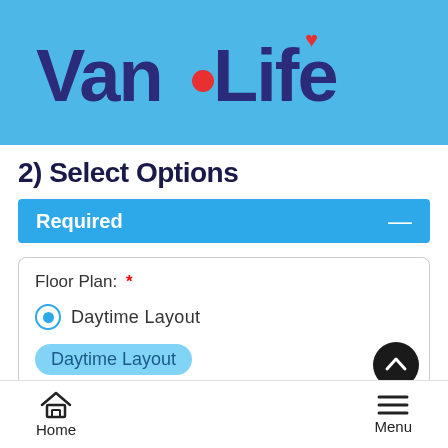[Figure (logo): Van.Life logo in dark blue bubbly/rounded font on a light blue background, with a red dot between Van and Life, and a red heart above the 'e' in Life]
2) Select Options
Required
Floor Plan: *
Daytime Layout (radio button selected)
Daytime Layout
Home   Menu